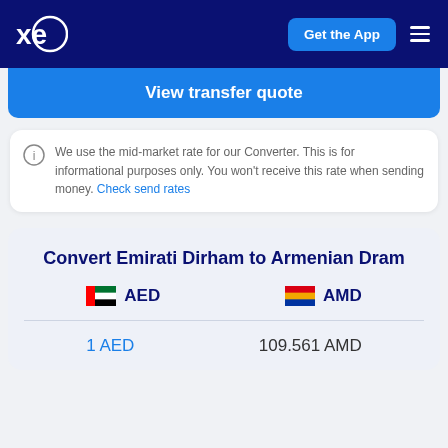xe — Get the App
View transfer quote
We use the mid-market rate for our Converter. This is for informational purposes only. You won't receive this rate when sending money. Check send rates
Convert Emirati Dirham to Armenian Dram
AED   AMD
1 AED   109.561 AMD